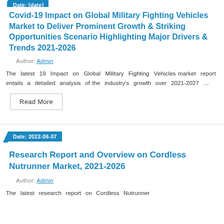Date: [truncated at top]
Covid-19 Impact on Global Military Fighting Vehicles Market to Deliver Prominent Growth & Striking Opportunities Scenario Highlighting Major Drivers & Trends 2021-2026
Author: Admin
The latest 19 Impact on Global Military Fighting Vehicles market report entails a detailed analysis of the industry's growth over 2021-2027 …
Read More
Date: 2022-06-07
Research Report and Overview on Cordless Nutrunner Market, 2021-2026
Author: Admin
The latest research report on Cordless Nutrunner